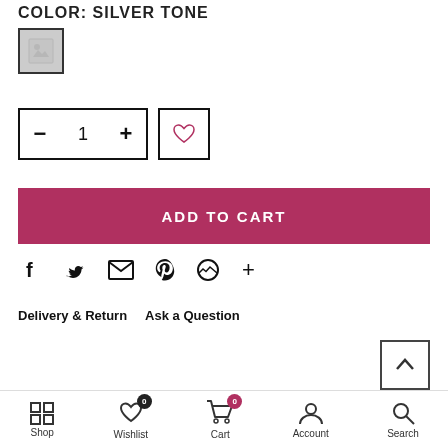COLOR: SILVER TONE
[Figure (illustration): Silver tone color swatch — grey square with a placeholder image icon]
[Figure (infographic): Quantity selector showing minus button, number 1, plus button; and a heart/wishlist icon button]
[Figure (infographic): ADD TO CART button in dark pink/crimson color]
[Figure (infographic): Social share icons row: Facebook, Twitter, Email, Pinterest, Messenger, Plus]
Delivery & Return    Ask a Question
[Figure (infographic): Back to top chevron button]
Additional Information
Shop  Wishlist (0)  Cart (0)  Account  Search